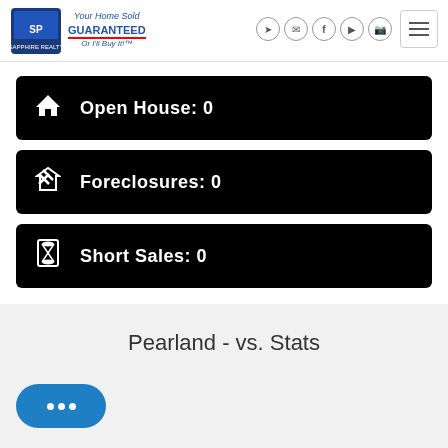Sapphire Realty — Your Home Sold GUARANTEED Or I'll Buy It!
Open House: 0
Foreclosures: 0
Short Sales: 0
Pearland - vs. Stats